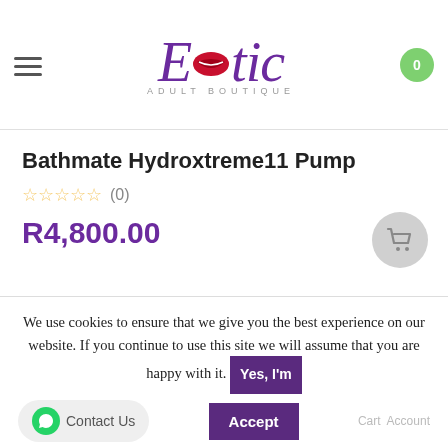[Figure (logo): Erotic Adult Boutique logo with purple script font and red lips icon]
Bathmate Hydroxtreme11 Pump
★★★★★ (0)
R4,800.00
[Figure (photo): Partial product image showing red pump device]
We use cookies to ensure that we give you the best experience on our website. If you continue to use this site we will assume that you are happy with it.
Yes, I'm
Accept
Contact Us